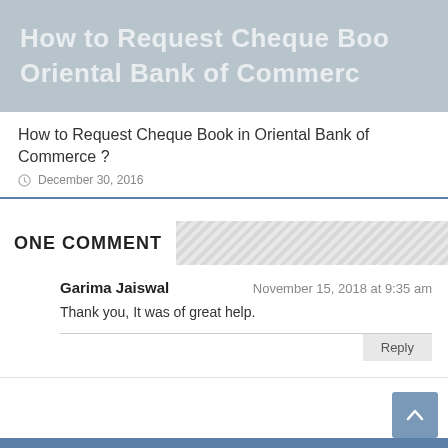[Figure (screenshot): Faded banner image with text 'How to Request Cheque Book' and 'Oriental Bank of Commerce' in whitish lettering on a gray-blue background]
How to Request Cheque Book in Oriental Bank of Commerce ?
December 30, 2016
ONE COMMENT
Garima Jaiswal
November 15, 2018 at 9:35 am
Thank you, It was of great help.